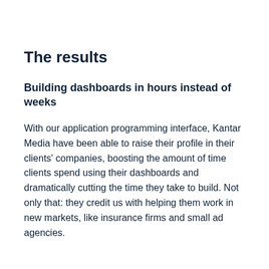The results
Building dashboards in hours instead of weeks
With our application programming interface, Kantar Media have been able to raise their profile in their clients' companies, boosting the amount of time clients spend using their dashboards and dramatically cutting the time they take to build. Not only that: they credit us with helping them work in new markets, like insurance firms and small ad agencies.